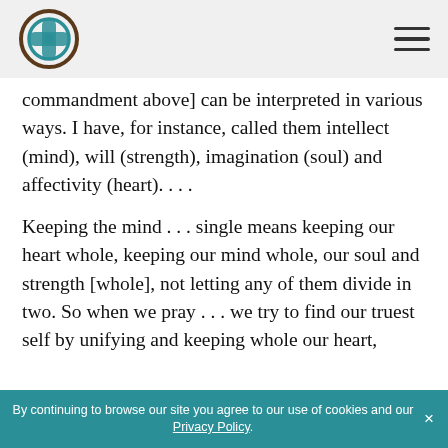[logo] [hamburger menu]
commandment above] can be interpreted in various ways. I have, for instance, called them intellect (mind), will (strength), imagination (soul) and affectivity (heart). . . .
Keeping the mind . . . single means keeping our heart whole, keeping our mind whole, our soul and strength [whole], not letting any of them divide in two. So when we pray . . . we try to find our truest self by unifying and keeping whole our heart,
By continuing to browse our site you agree to our use of cookies and our Privacy Policy. ×